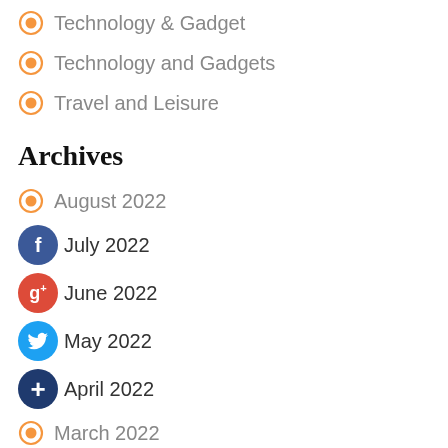Technology & Gadget
Technology and Gadgets
Travel and Leisure
Archives
August 2022
July 2022
June 2022
May 2022
April 2022
March 2022
February 2022